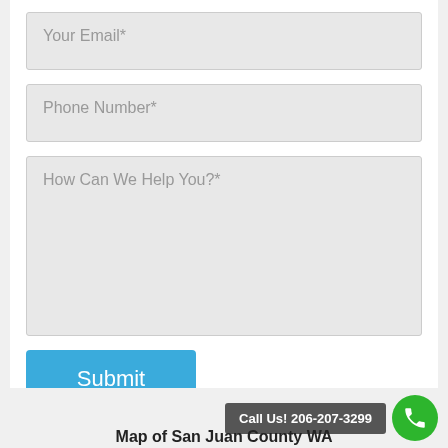Your Email*
Phone Number*
How Can We Help You?*
Submit
Call Us! 206-207-3299
Map of San Juan County WA